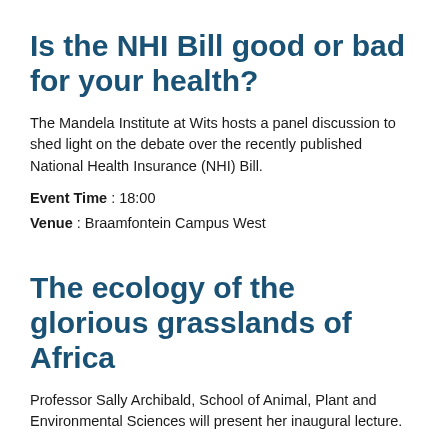Is the NHI Bill good or bad for your health?
The Mandela Institute at Wits hosts a panel discussion to shed light on the debate over the recently published National Health Insurance (NHI) Bill.
Event Time : 18:00
Venue : Braamfontein Campus West
The ecology of the glorious grasslands of Africa
Professor Sally Archibald, School of Animal, Plant and Environmental Sciences will present her inaugural lecture.